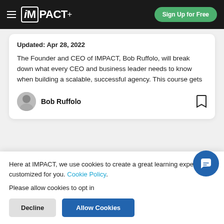iMPACT+ Sign Up for Free
Updated: Apr 28, 2022
The Founder and CEO of IMPACT, Bob Ruffolo, will break down what every CEO and business leader needs to know when building a scalable, successful agency. This course gets
Bob Ruffolo
[Figure (photo): Blue banner with bold white text reading GETTING THE and a decorative circle on the right]
Here at IMPACT, we use cookies to create a great learning experience customized for you. Cookie Policy.

Please allow cookies to opt in
Decline
Allow Cookies